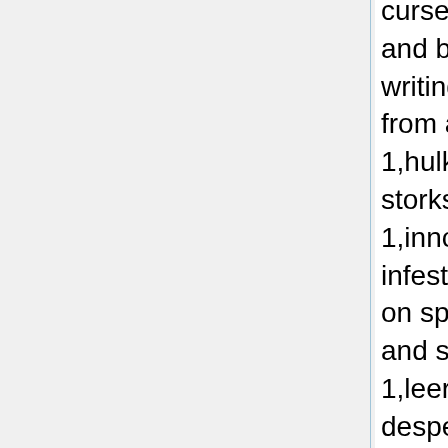cursed 1,grave robbing 1,greasy and bloated 1,guided by secret writing 1,gullible and suffering from amnesia 1,heir to the throne 1,hulking and giggly 1,hunted by storks 1,implausibly trained 1,innocent and framed 1,insect infested and loathsome 1,jumped on space heroin 1,knife armed and sextial bodied 1,laser witted 1,leering and sadistic 1,lost and desperate 1,lusty and criminally worshipful 1,manic and delusional 1,marked for death 1,monkey driven 1,mostly ghost robot 1,mostly robot 1,naked and steaming 1,pale and hairless 1,Passive aggressive 1,pathetic and clingy 1,plummeting to a scandalous end 1,polite and filth encrusted 1,prone to accident 1,reckless and deceptive 1,reeking of urine 1,rich and generous 1,riddled with alien gems 1,sassy and scantly clad 1,secret and disguised